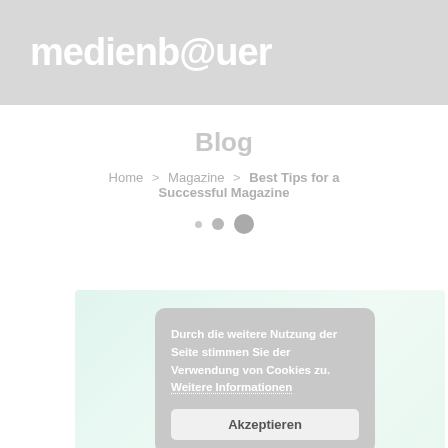[Figure (logo): medienbauer logo in white text on light grey background]
Blog
Home > Magazine > Best Tips for a Successful Magazine
[Figure (other): Three dots of increasing size (small, medium, large) used as pagination or decoration]
[Figure (screenshot): Cookie consent banner dialog on a light green tinted background area, containing text in German and an Akzeptieren button]
Durch die weitere Nutzung der Seite stimmen Sie der Verwendung von Cookies zu. Weitere Informationen
Akzeptieren